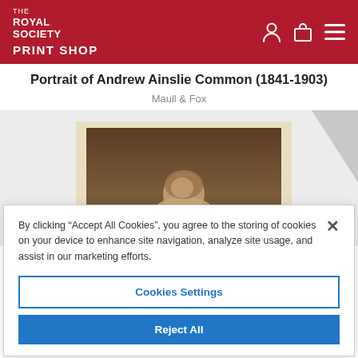THE ROYAL SOCIETY PRINT SHOP
Portrait of Andrew Ainslie Common (1841-1903)
Maull & Fox
[Figure (photo): Sepia-toned vintage portrait photograph of Andrew Ainslie Common, showing a partially curled photograph mounted on a light background.]
By clicking “Accept All Cookies”, you agree to the storing of cookies on your device to enhance site navigation, analyze site usage, and assist in our marketing efforts.
Cookies Settings
Reject All